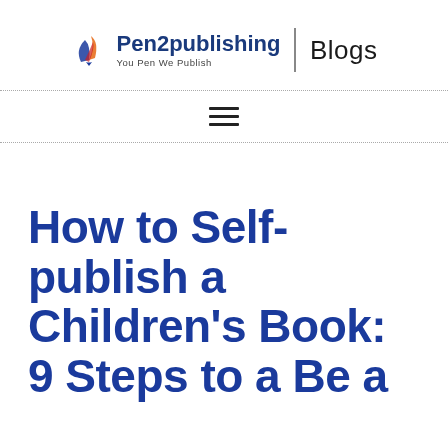Pen2publishing | Blogs — You Pen We Publish
How to Self-publish a Children's Book: 9 Steps to a Be a